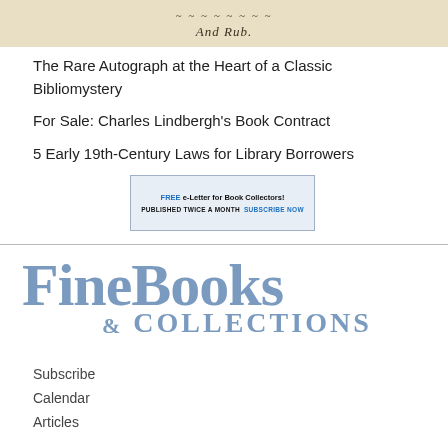[Figure (photo): Handwritten text on aged paper, showing cursive script with 'And Rub' visible]
The Rare Autograph at the Heart of a Classic Bibliomystery
For Sale: Charles Lindbergh's Book Contract
5 Early 19th-Century Laws for Library Borrowers
[Figure (infographic): Advertisement banner: FREE e-Letter for Book Collectors! PUBLISHED TWICE A MONTH  SUBSCRIBE NOW]
[Figure (logo): FineBooks & COLLECTIONS logo in steel blue serif font]
Subscribe
Calendar
Articles